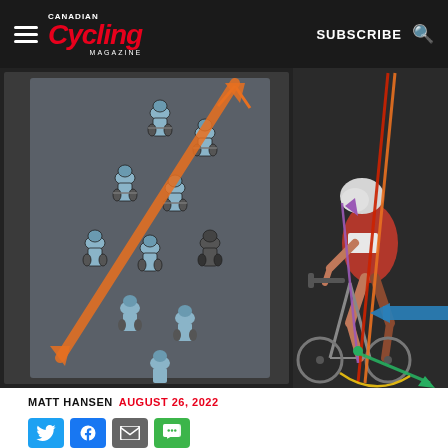Canadian Cycling Magazine — SUBSCRIBE
[Figure (illustration): Two cycling illustrations side by side on dark background. Left: aerial view of a group of cyclists riding in a zigzag/echelon formation with an orange diagonal arrow showing their path. Right: side profile illustration of a cyclist in aerodynamic position on a road bike with colored lines (orange, red, purple, green, yellow, blue arrow) indicating biomechanical force vectors and bike fit measurements.]
MATT HANSEN  AUGUST 26, 2022
[Figure (illustration): Social sharing buttons row: Twitter (blue), Facebook (blue), Email (grey), SMS (green)]